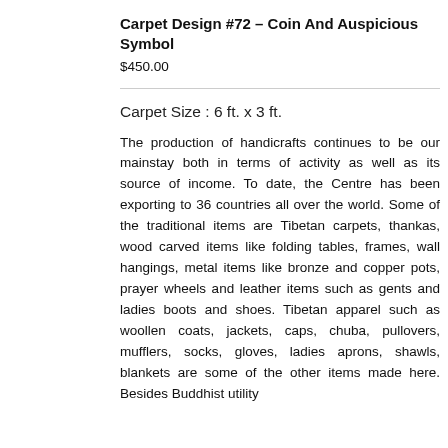Carpet Design #72 – Coin And Auspicious Symbol
$450.00
Carpet Size : 6 ft. x 3 ft.
The production of handicrafts continues to be our mainstay both in terms of activity as well as its source of income. To date, the Centre has been exporting to 36 countries all over the world. Some of the traditional items are Tibetan carpets, thankas, wood carved items like folding tables, frames, wall hangings, metal items like bronze and copper pots, prayer wheels and leather items such as gents and ladies boots and shoes. Tibetan apparel such as woollen coats, jackets, caps, chuba, pullovers, mufflers, socks, gloves, ladies aprons, shawls, blankets are some of the other items made here. Besides Buddhist utility